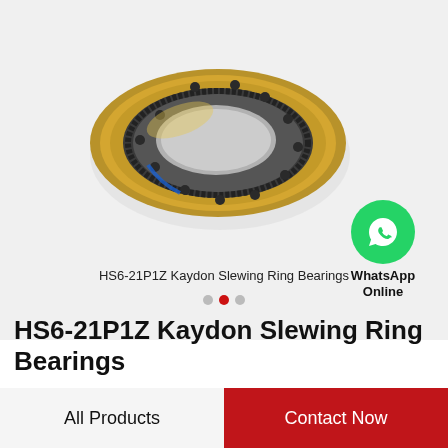[Figure (photo): HS6-21P1Z Kaydon slewing ring bearing — a large circular ring gear bearing with gold/brass and dark metal surfaces, shown in 3D perspective view against a light grey background.]
HS6-21P1Z Kaydon Slewing Ring Bearings
[Figure (logo): WhatsApp green circle logo icon with white phone handset symbol, with text 'WhatsApp Online' below.]
HS6-21P1Z Kaydon Slewing Ring Bearings
All Products
Contact Now